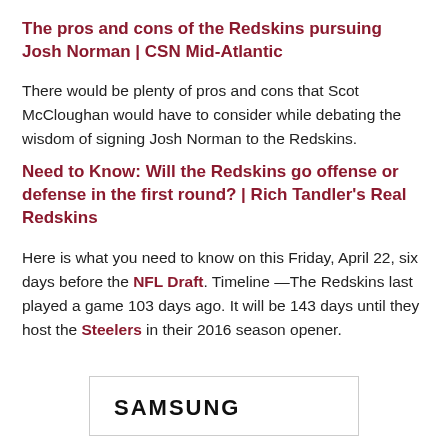The pros and cons of the Redskins pursuing Josh Norman | CSN Mid-Atlantic
There would be plenty of pros and cons that Scot McCloughan would have to consider while debating the wisdom of signing Josh Norman to the Redskins.
Need to Know: Will the Redskins go offense or defense in the first round? | Rich Tandler's Real Redskins
Here is what you need to know on this Friday, April 22, six days before the NFL Draft. Timeline —The Redskins last played a game 103 days ago. It will be 143 days until they host the Steelers in their 2016 season opener.
[Figure (logo): Samsung logo in bold uppercase letters inside a rectangular bordered box]